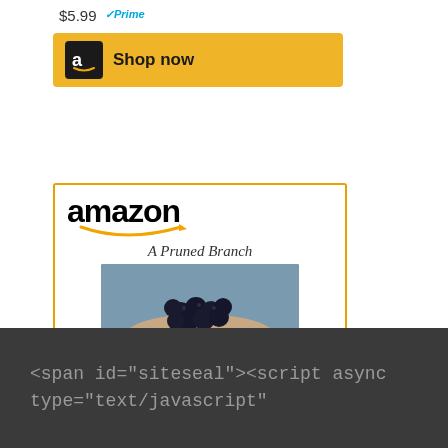[Figure (screenshot): Partial Amazon product ad card showing price $5.99 with Prime badge and Shop now button with Amazon logo on gold background]
[Figure (screenshot): Amazon product ad card for 'A Pruned Branch: A...' showing Amazon wordmark with smile arrow, book cover image of hands holding dark berries, price $14.99 with Prime badge, and Shop now button]
<span id="siteseal"><script async type="text/javascript"
<span id="siteseal"><script async type="text/javascript"